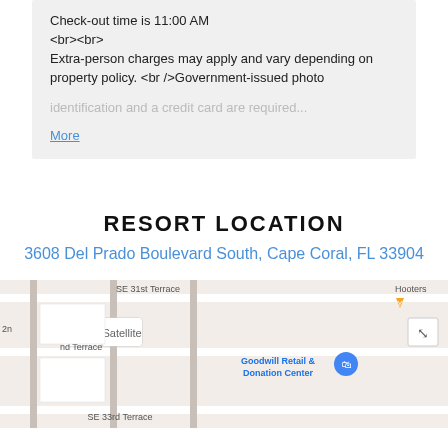Check-out time is 11:00 AM
<br><br>
Extra-person charges may apply and vary depending on property policy. <br />Government-issued photo identification and a credit card are required...
More
RESORT LOCATION
3608 Del Prado Boulevard South, Cape Coral, FL 33904
[Figure (map): Google Maps view showing the area around 3608 Del Prado Boulevard South, Cape Coral, FL 33904, with Map/Satellite toggle buttons, showing SE 31st Terrace, SE 33rd Terrace, Goodwill Retail & Donation Center, Hooters, and street labels including 16th Pl, 17th Ave, 17th Pl, 18th Ave, 18th Pl, 19th Ave]